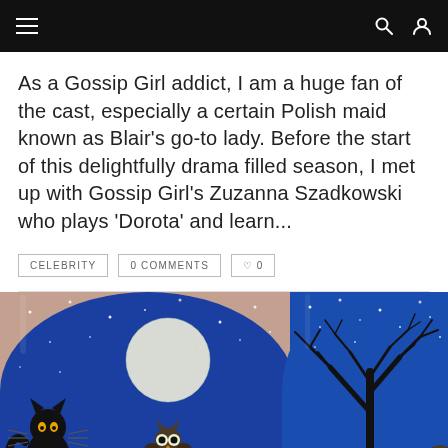Navigation bar with hamburger menu, search and user icons
As a Gossip Girl addict, I am a huge fan of the cast, especially a certain Polish maid known as Blair's go-to lady. Before the start of this delightfully drama filled season, I met up with Gossip Girl's Zuzanna Szadkowski who plays 'Dorota' and learn...
CELEBRITY
0 COMMENTS
♡ 0
[Figure (photo): Two painted fingernails with Halloween night scene art featuring a black cat, full moon, owl, bare trees, and stars on a blue background]